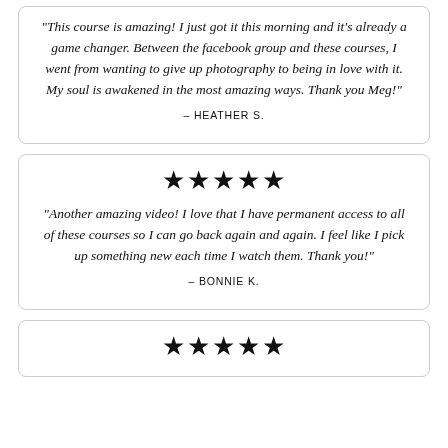“This course is amazing! I just got it this morning and it’s already a game changer. Between the facebook group and these courses, I went from wanting to give up photography to being in love with it. My soul is awakened in the most amazing ways. Thank you Meg!”
– HEATHER S.
★★★★★
“Another amazing video! I love that I have permanent access to all of these courses so I can go back again and again. I feel like I pick up something new each time I watch them. Thank you!”
– BONNIE K.
★★★★★